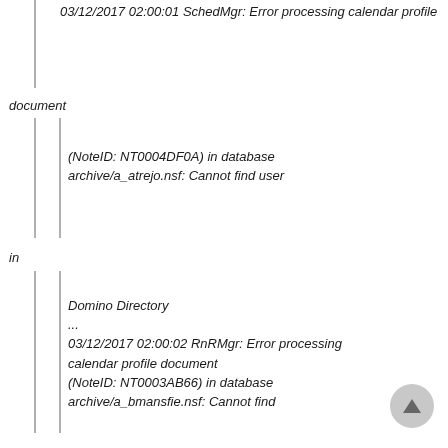03/12/2017 02:00:01 SchedMgr: Error processing calendar profile
document
(NoteID: NT0004DF0A) in database archive/a_atrejo.nsf: Cannot find user
in
Domino Directory
...
03/12/2017 02:00:02 RnRMgr: Error processing calendar profile document (NoteID: NT0003AB66) in database archive/a_bmansfie.nsf: Cannot find
user
in Domino Directory
Notice that the header says 03:00:01 AM - 03/12